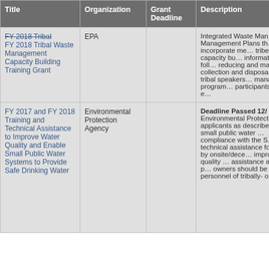| Title | Organization | Grant Deadline | Description |
| --- | --- | --- | --- |
| FY 2018 Tribal Waste Management Capacity Building Training Grant | EPA |  | Integrated Waste Management Plans th… should incorporate me… tribes with capacity bu… information on the foll… reducing and managi… collection and disposa… include tribal speakers… management progra… participants to attend e… |
| FY 2017 and FY 2018 Training and Technical Assistance to Improve Water Quality and Enable Small Public Water Systems to Provide Safe Drinking Water | Environmental Protection Agency |  | Deadline Passed 12/… Environmental Protect… applicants as describe… for small public water … compliance with the S… technical assistance fo… served by onsite/dece… improve water quality … assistance activities p… owners should be ma… personnel of tribally- o… |